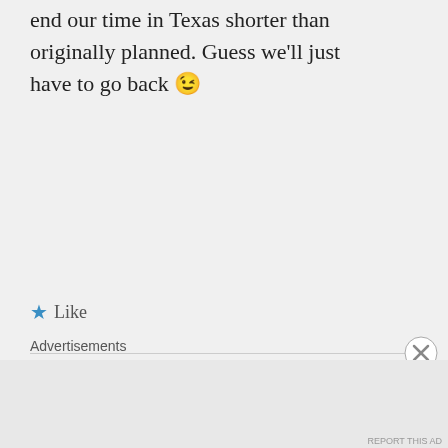end our time in Texas shorter than originally planned. Guess we'll just have to go back 😉
★ Like
cravesadventure on February 14, 2014 at 9:35 am
You will have to go back – I want to arm chair travel through
Advertisements